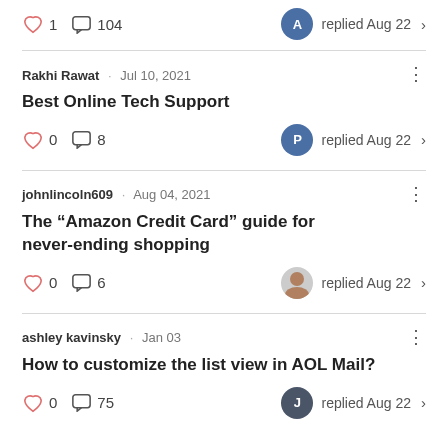♡ 1  💬 104   A replied Aug 22 >
Rakhi Rawat · Jul 10, 2021
Best Online Tech Support
♡ 0  💬 8   P replied Aug 22 >
johnlincoln609 · Aug 04, 2021
The "Amazon Credit Card" guide for never-ending shopping
♡ 0  💬 6   replied Aug 22 >
ashley kavinsky · Jan 03
How to customize the list view in AOL Mail?
♡ 0  💬 75   J replied Aug 22 >